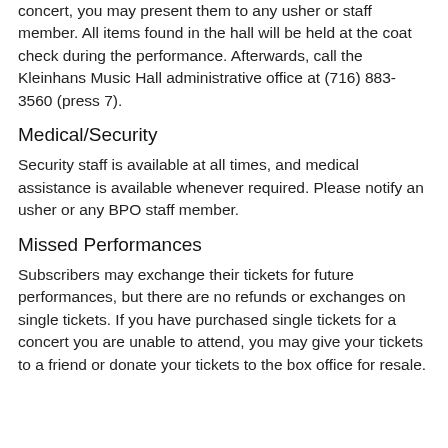concert, you may present them to any usher or staff member. All items found in the hall will be held at the coat check during the performance. Afterwards, call the Kleinhans Music Hall administrative office at (716) 883-3560 (press 7).
Medical/Security
Security staff is available at all times, and medical assistance is available whenever required. Please notify an usher or any BPO staff member.
Missed Performances
Subscribers may exchange their tickets for future performances, but there are no refunds or exchanges on single tickets. If you have purchased single tickets for a concert you are unable to attend, you may give your tickets to a friend or donate your tickets to the box office for resale.